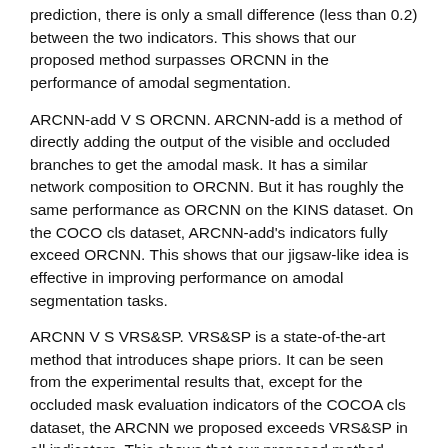prediction, there is only a small difference (less than 0.2) between the two indicators. This shows that our proposed method surpasses ORCNN in the performance of amodal segmentation.
ARCNN-add V S ORCNN. ARCNN-add is a method of directly adding the output of the visible and occluded branches to get the amodal mask. It has a similar network composition to ORCNN. But it has roughly the same performance as ORCNN on the KINS dataset. On the COCO cls dataset, ARCNN-add's indicators fully exceed ORCNN. This shows that our jigsaw-like idea is effective in improving performance on amodal segmentation tasks.
ARCNN V S VRS&SP. VRS&SP is a state-of-the-art method that introduces shape priors. It can be seen from the experimental results that, except for the occluded mask evaluation indicators of the COCOA cls dataset, the ARCNN we proposed exceeds VRS&SP in all indicators. This shows that our proposed method exceeds the current state-of-the-art methods.
4.5.2 Ablation Studies